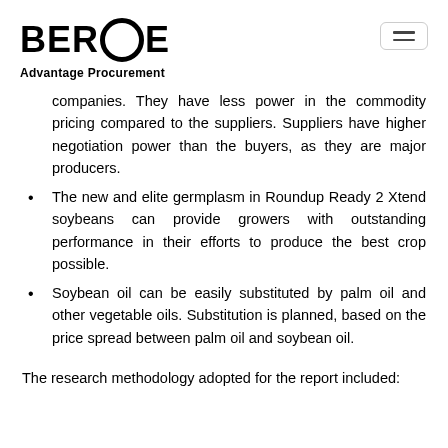BEROE Advantage Procurement
companies. They have less power in the commodity pricing compared to the suppliers. Suppliers have higher negotiation power than the buyers, as they are major producers.
The new and elite germplasm in Roundup Ready 2 Xtend soybeans can provide growers with outstanding performance in their efforts to produce the best crop possible.
Soybean oil can be easily substituted by palm oil and other vegetable oils. Substitution is planned, based on the price spread between palm oil and soybean oil.
The research methodology adopted for the report included: